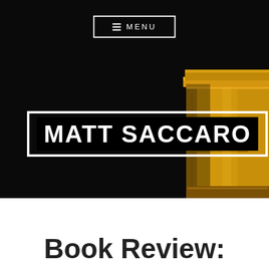≡ MENU
MATT SACCARO
[Figure (illustration): Dark black background with gold/yellow hardcover books stacked on the right side, partially visible]
Book Review: